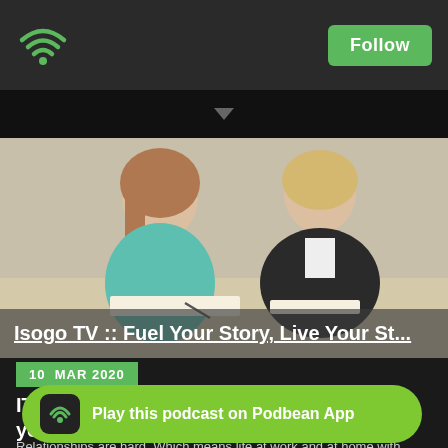Follow
[Figure (photo): Two women sitting at a table, one in teal top writing on paper, one in black jacket speaking. Background is a formal room.]
Isogo TV :: Fuel Your Story, Live Your St…
10 MAR 2020
ITV 107 | Make Relationships Easier with your Ideation Strength
Relationships are hard. Which means life at work and at home with family can be hard. But once you find the strength and the understanding and fixating about you and the people around you. The Clifton Strengths Ideation Strength…
Play this podcast on Podbean App